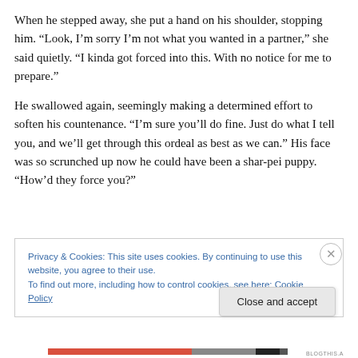When he stepped away, she put a hand on his shoulder, stopping him. “Look, I’m sorry I’m not what you wanted in a partner,” she said quietly. “I kinda got forced into this. With no notice for me to prepare.”
He swallowed again, seemingly making a determined effort to soften his countenance. “I’m sure you’ll do fine. Just do what I tell you, and we’ll get through this ordeal as best as we can.” His face was so scrunched up now he could have been a shar-pei puppy. “How’d they force you?”
Privacy & Cookies: This site uses cookies. By continuing to use this website, you agree to their use.
To find out more, including how to control cookies, see here: Cookie Policy
Close and accept